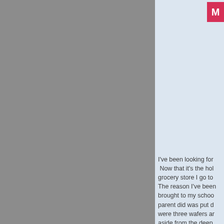[Figure (photo): Large gray rectangular image panel occupying the left two-thirds of the page]
[Figure (logo): Red square logo box in upper right corner with white letter M]
I've been looking for  Now that it's the hol grocery store I go to The reason I've been brought to my schoo parent did was put d were three wafers a aside from the deep that they for